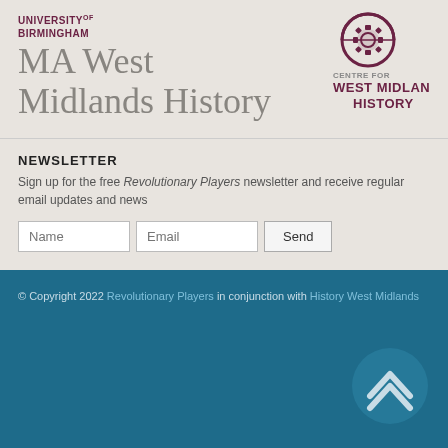UNIVERSITY OF BIRMINGHAM
MA West Midlands History
[Figure (logo): Centre for West Midlands History logo — circular gear/brain icon above text reading CENTRE FOR WEST MIDLANDS HISTORY in dark red/maroon]
NEWSLETTER
Sign up for the free Revolutionary Players newsletter and receive regular email updates and news
© Copyright 2022 Revolutionary Players in conjunction with History West Midlands